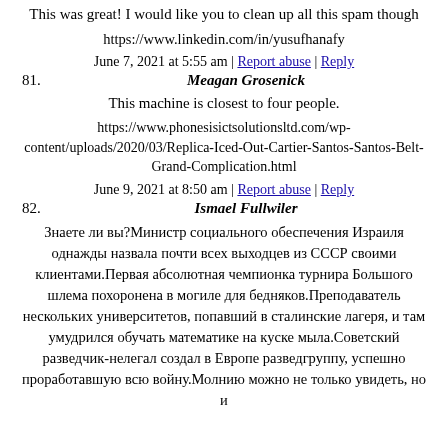This was great! I would like you to clean up all this spam though
https://www.linkedin.com/in/yusufhanafy
June 7, 2021 at 5:55 am | Report abuse | Reply
81. Meagan Grosenick
This machine is closest to four people.
https://www.phonesisictsolutionsltd.com/wp-content/uploads/2020/03/Replica-Iced-Out-Cartier-Santos-Santos-Belt-Grand-Complication.html
June 9, 2021 at 8:50 am | Report abuse | Reply
82. Ismael Fullwiler
Знаете ли вы?Министр социального обеспечения Израиля однажды назвала почти всех выходцев из СССР своими клиентами.Первая абсолютная чемпионка турнира Большого шлема похоронена в могиле для бедняков.Преподаватель нескольких университетов, попавший в сталинские лагеря, и там умудрился обучать математике на куске мыла.Советский разведчик-нелегал создал в Европе разведгруппу, успешно проработавшую всю войну.Молнию можно не только увидеть, но и